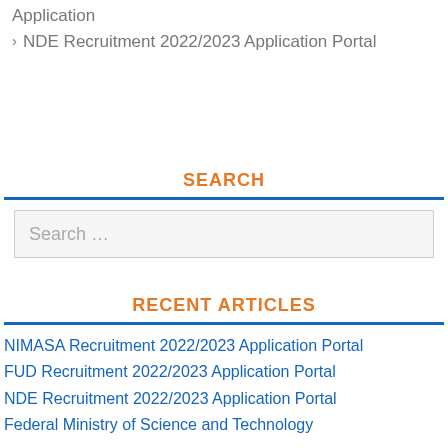Application
> NDE Recruitment 2022/2023 Application Portal
SEARCH
Search …
RECENT ARTICLES
NIMASA Recruitment 2022/2023 Application Portal
FUD Recruitment 2022/2023 Application Portal
NDE Recruitment 2022/2023 Application Portal
Federal Ministry of Science and Technology